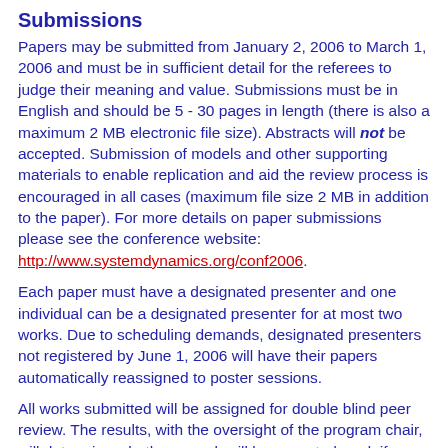Submissions
Papers may be submitted from January 2, 2006 to March 1, 2006 and must be in sufficient detail for the referees to judge their meaning and value. Submissions must be in English and should be 5 - 30 pages in length (there is also a maximum 2 MB electronic file size). Abstracts will not be accepted. Submission of models and other supporting materials to enable replication and aid the review process is encouraged in all cases (maximum file size 2 MB in addition to the paper). For more details on paper submissions please see the conference website: http://www.systemdynamics.org/conf2006.
Each paper must have a designated presenter and one individual can be a designated presenter for at most two works. Due to scheduling demands, designated presenters not registered by June 1, 2006 will have their papers automatically reassigned to poster sessions.
All works submitted will be assigned for double blind peer review. The results, with the oversight of the program chair, will determine whether a work will be accepted, and, if so, whether for plenary, parallel or poster presentation.
Notifications of acceptance will be sent by April 15, 2006. Authors retain the copyright to all submitted work and, by